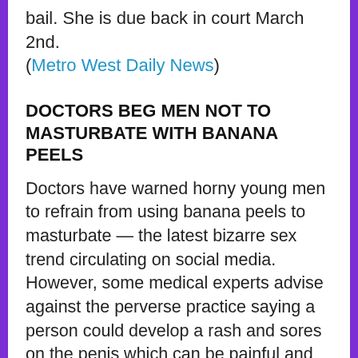bail. She is due back in court March 2nd. (Metro West Daily News)
DOCTORS BEG MEN NOT TO MASTURBATE WITH BANANA PEELS
Doctors have warned horny young men to refrain from using banana peels to masturbate — the latest bizarre sex trend circulating on social media. However, some medical experts advise against the perverse practice saying a person could develop a rash and sores on the penis which can be painful and might lead to infection. Not only that, but a person with a fruit or latex allergy could be more susceptible to a reaction from a banana skin. Banana peels aren't the first unconventional items